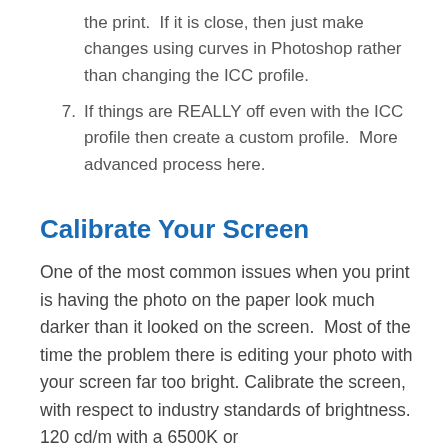the print.  If it is close, then just make changes using curves in Photoshop rather than changing the ICC profile.
7. If things are REALLY off even with the ICC profile then create a custom profile.  More advanced process here.
Calibrate Your Screen
One of the most common issues when you print is having the photo on the paper look much darker than it looked on the screen.  Most of the time the problem there is editing your photo with your screen far too bright. Calibrate the screen, with respect to industry standards of brightness. 120 cd/m with a 6500K or